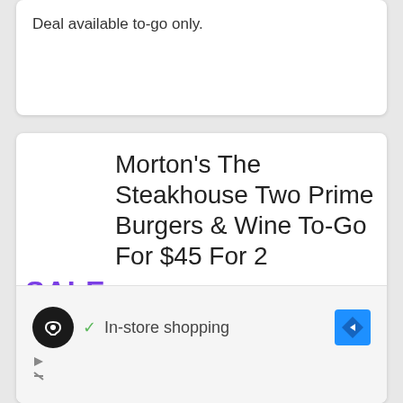Deal available to-go only.
Morton's The Steakhouse Two Prime Burgers & Wine To-Go For $45 For 2
Today & Tomorrow Only! Get 2 10 oz. Morton's Prime Burgers with Matchstick Fries, 2 of Signature Deserts & A Bottle of Pebble lane Cabernet Sauvignon, Pinot Noir or Chardonnay To Share for $45 for 2.
SALE
In-store shopping